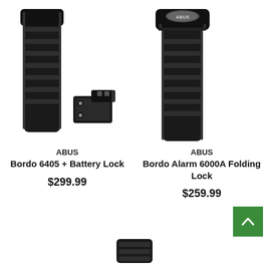[Figure (photo): ABUS Bordo 6405 + Battery Lock product image showing a black folding lock and a separate battery mount component]
ABUS
Bordo 6405 + Battery Lock
$299.99
[Figure (photo): ABUS Bordo Alarm 6000A Folding Lock product image showing a black folding lock with ABUS logo on top]
ABUS
Bordo Alarm 6000A Folding Lock
$259.99